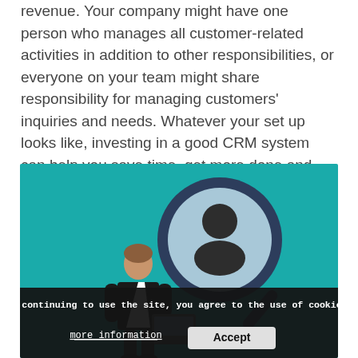revenue. Your company might have one person who manages all customer-related activities in addition to other responsibilities, or everyone on your team might share responsibility for managing customers' inquiries and needs. Whatever your set up looks like, investing in a good CRM system can help you save time, get more done and grow your business.
[Figure (illustration): Teal/turquoise background illustration showing a businessperson standing at a laptop next to a large magnifying glass with a user/profile icon inside it. A cookie consent banner overlays the bottom of the image with text 'By continuing to use the site, you agree to the use of cookies.' and buttons 'more information' and 'Accept'.]